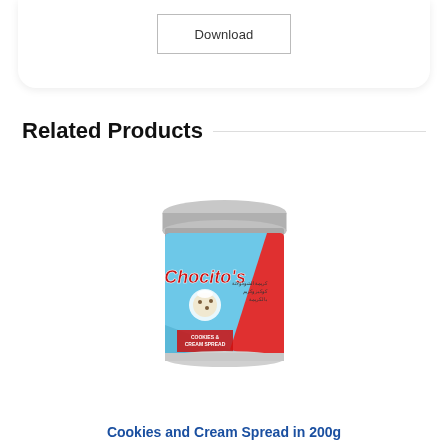Download
Related Products
[Figure (photo): Chocito's Cookies and Cream Spread jar in 200g — a round jar with silver metallic lid, red and light blue label featuring the Chocito's brand name in red script and an image of cookies with cream splash, with text 'COOKIES & CREAM SPREAD' on the front label.]
Cookies and Cream Spread in 200g